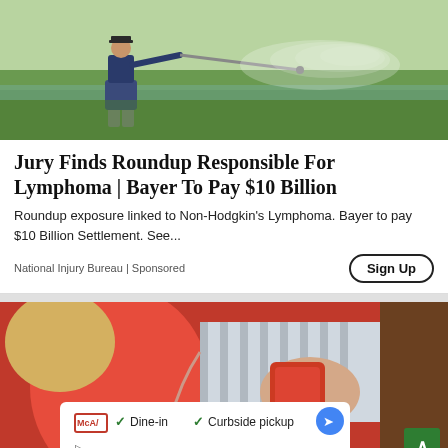[Figure (photo): Person wearing rubber boots standing in a flooded field, spraying pesticide/herbicide with a long-handled sprayer. Water droplets visible in the air.]
Jury Finds Roundup Responsible For Lymphoma | Bayer To Pay $10 Billion
Roundup exposure linked to Non-Hodgkin's Lymphoma. Bayer to pay $10 Billion Settlement. See...
National Injury Bureau | Sponsored
[Figure (photo): Person in red clothing using a smartphone while shopping or at a store. An overlay card shows McAv branding with Dine-in and Curbside pickup options with a Google Maps navigation icon.]